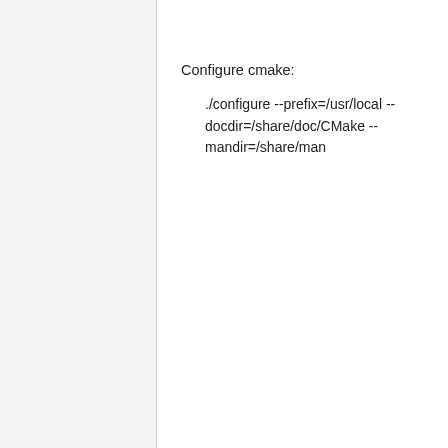Configure cmake:
./configure --prefix=/usr/local --docdir=/share/doc/CMake --mandir=/share/man